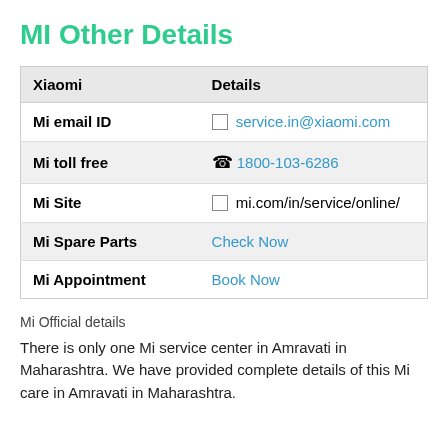MI Other Details
| Xiaomi | Details |
| --- | --- |
| Mi email ID | ✉ service.in@xiaomi.com |
| Mi toll free | ☎ 1800-103-6286 |
| Mi Site | □ mi.com/in/service/online/ |
| Mi Spare Parts | Check Now |
| Mi Appointment | Book Now |
Mi Official details
There is only one Mi service center in Amravati in Maharashtra. We have provided complete details of this Mi care in Amravati in Maharashtra.